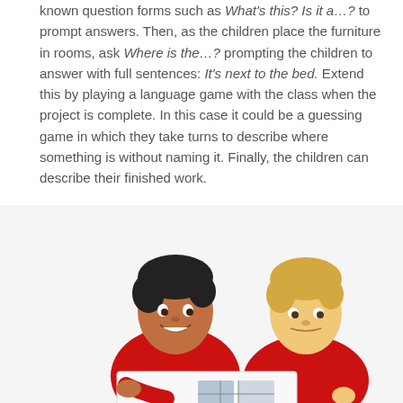known question forms such as What's this? Is it a…? to prompt answers. Then, as the children place the furniture in rooms, ask Where is the…? prompting the children to answer with full sentences: It's next to the bed. Extend this by playing a language game with the class when the project is complete. In this case it could be a guessing game in which they take turns to describe where something is without naming it. Finally, the children can describe their finished work.
[Figure (photo): Two young boys in red school uniforms smiling and holding a project — one with dark hair and one with blonde hair.]